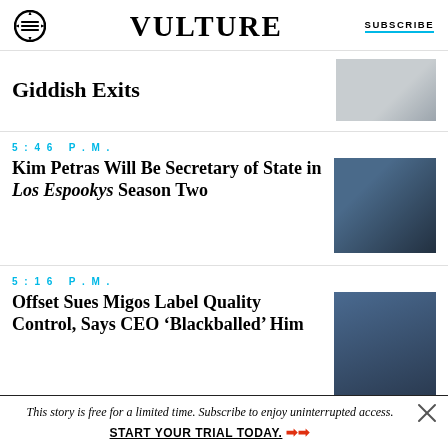VULTURE | SUBSCRIBE
Giddish Exits
5:46 P.M.
Kim Petras Will Be Secretary of State in Los Espookys Season Two
5:16 P.M.
Offset Sues Migos Label Quality Control, Says CEO ‘Blackballed’ Him
This story is free for a limited time. Subscribe to enjoy uninterrupted access. START YOUR TRIAL TODAY. ➡➡